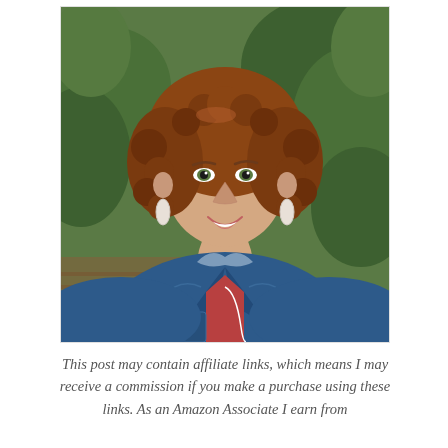[Figure (photo): Portrait photo of a woman with curly auburn hair, wearing a denim jacket over a red v-neck top, smiling, with green leafy background.]
This post may contain affiliate links, which means I may receive a commission if you make a purchase using these links. As an Amazon Associate I earn from